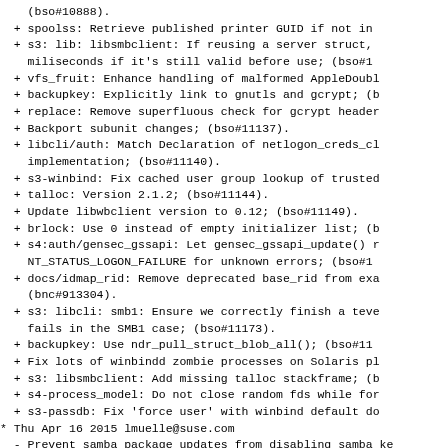(bso#10888).
+ spoolss: Retrieve published printer GUID if not in
+ s3: lib: libsmbclient: If reusing a server struct,
    miliseconds if it's still valid before use; (bso#1
+ vfs_fruit: Enhance handling of malformed AppleDoubl
+ backupkey: Explicitly link to gnutls and gcrypt; (b
+ replace: Remove superfluous check for gcrypt header
+ Backport subunit changes; (bso#11137).
+ libcli/auth: Match Declaration of netlogon_creds_c
    implementation; (bso#11140).
+ s3-winbind: Fix cached user group lookup of trusted
+ talloc: Version 2.1.2; (bso#11144).
+ Update libwbclient version to 0.12; (bso#11149).
+ brlock: Use 0 instead of empty initializer list; (b
+ s4:auth/gensec_gssapi: Let gensec_gssapi_update() r
    NT_STATUS_LOGON_FAILURE for unknown errors; (bso#1
+ docs/idmap_rid: Remove deprecated base_rid from exa
    (bnc#913304).
+ s3: libcli: smb1: Ensure we correctly finish a teve
    fails in the SMB1 case; (bso#11173).
+ backupkey: Use ndr_pull_struct_blob_all(); (bso#11
+ Fix lots of winbindd zombie processes on Solaris pl
+ s3: libsmbclient: Add missing talloc stackframe; (b
+ s4-process_model: Do not close random fds while for
+ s3-passdb: Fix 'force user' with winbind default do
* Thu Apr 16 2015 lmuelle@suse.com
- Prevent samba package updates from disabling samba ke
* Thu Apr 09 2015 noel.power@suse.com
- Add sparse file support for samba; (fate#318424).
* Tue Mar 31 2015 ddiss@suse.com